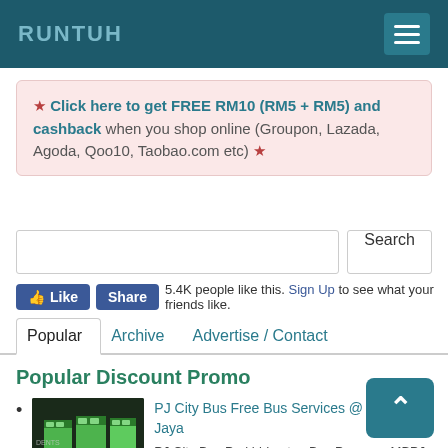RUNTUH
★ Click here to get FREE RM10 (RM5 + RM5) and cashback when you shop online (Groupon, Lazada, Agoda, Qoo10, Taobao.com etc) ★
Search
5.4K people like this. Sign Up to see what your friends like.
Popular | Archive | Advertise / Contact
Popular Discount Promo
PJ City Bus Free Bus Services @ Petaling Jaya — PJ City Bus Perkhidmatan Bus Percuma MBPJ Majlis Bandaraya Petaling Jaya (MBPJ meneruskan tanggungjawab sosial ke masyarakat Petali...